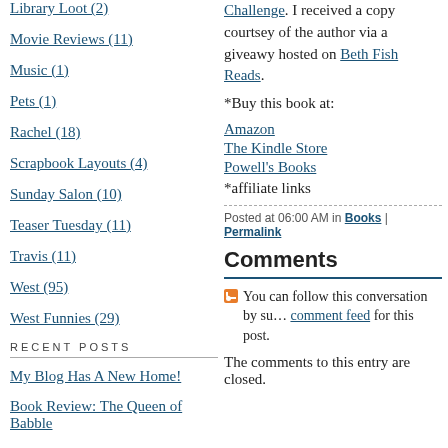Library Loot (2)
Movie Reviews (11)
Music (1)
Pets (1)
Rachel (18)
Scrapbook Layouts (4)
Sunday Salon (10)
Teaser Tuesday (11)
Travis (11)
West (95)
West Funnies (29)
RECENT POSTS
My Blog Has A New Home!
Book Review: The Queen of Babble
Book Review: Night Road
Oscar Day Is Here!
Book Review: The Weird Sisters
Challenge. I received a copy courtsey of the author via a giveawy hosted on Beth Fish Reads.
*Buy this book at:
Amazon
The Kindle Store
Powell's Books
*affiliate links
Posted at 06:00 AM in Books | Permalink
Comments
You can follow this conversation by subscribing to the comment feed for this post.
The comments to this entry are closed.